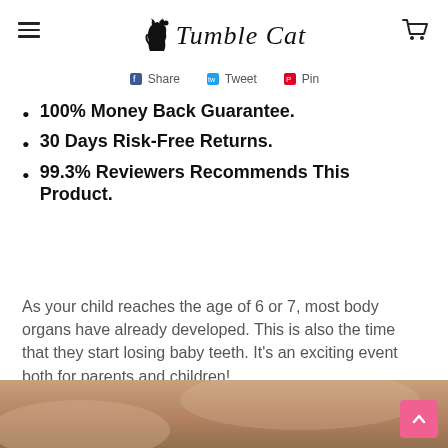Tumble Cat
Share   Tweet   Pin
100% Money Back Guarantee.
30 Days Risk-Free Returns.
99.3% Reviewers Recommends This Product.
As your child reaches the age of 6 or 7, most body organs have already developed. This is also the time that they start losing baby teeth. It's an exciting event both for parents and children!
[Figure (photo): Bottom portion of a photo showing a warm-toned background, partially visible]